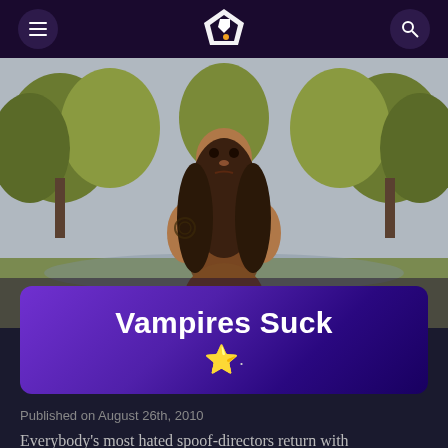Navigation bar with menu, logo, and search icons
[Figure (photo): A shirtless man with long dark hair and wolf-like facial features, appears to be a werewolf character, standing outdoors in front of trees with autumn foliage]
Vampires Suck
★·  (star rating approximately 1.5 out of 5)
Published on August 26th, 2010
Everybody's most hated spoof-directors return with